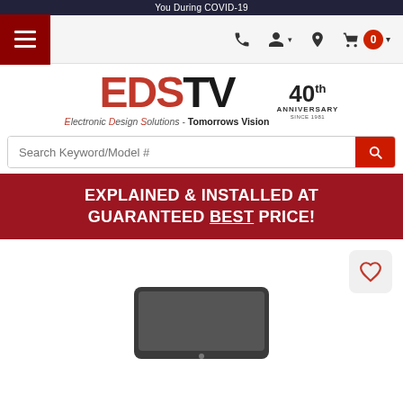You During COVID-19
[Figure (logo): EDSTV logo with 40th Anniversary badge. Red EDS letters, black TV letters. Tagline: Electronic Design Solutions - Tomorrows Vision]
Search Keyword/Model #
EXPLAINED & INSTALLED AT GUARANTEED BEST PRICE!
[Figure (photo): Wishlist/heart button and partial product image (dark tablet/device) at bottom of page]